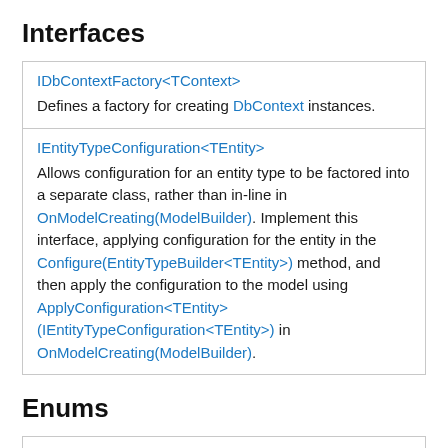Interfaces
| IDbContextFactory<TContext> | Defines a factory for creating DbContext instances. |
| IEntityTypeConfiguration<TEntity> | Allows configuration for an entity type to be factored into a separate class, rather than in-line in OnModelCreating(ModelBuilder). Implement this interface, applying configuration for the entity in the Configure(EntityTypeBuilder<TEntity>) method, and then apply the configuration to the model using ApplyConfiguration<TEntity>(IEntityTypeConfiguration<TEntity>) in OnModelCreating(ModelBuilder). |
Enums